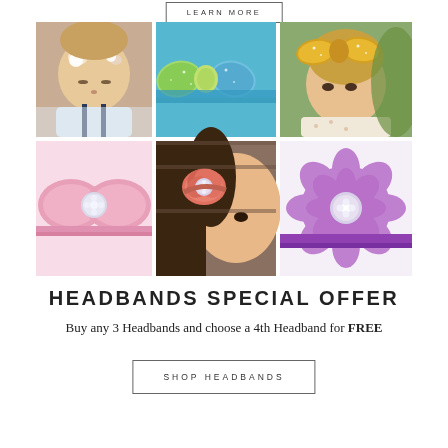LEARN MORE
[Figure (photo): A collage of 6 headband product photos: top row shows a baby girl with floral headband, a colorful glitter bow on blue band, and a gold glitter bow on a toddler girl; bottom row shows a pink satin bow headband, a coral flower headband on a girl, and a purple flower headband on purple band.]
HEADBANDS SPECIAL OFFER
Buy any 3 Headbands and choose a 4th Headband for FREE
SHOP HEADBANDS